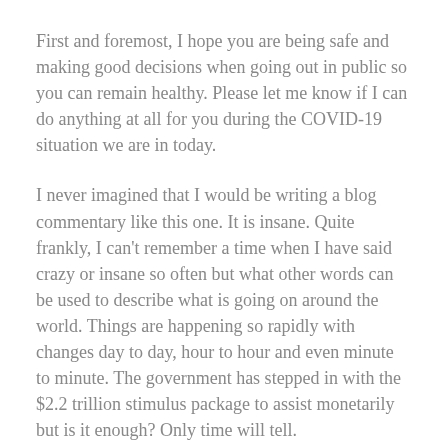First and foremost, I hope you are being safe and making good decisions when going out in public so you can remain healthy. Please let me know if I can do anything at all for you during the COVID-19 situation we are in today.
I never imagined that I would be writing a blog commentary like this one. It is insane. Quite frankly, I can't remember a time when I have said crazy or insane so often but what other words can be used to describe what is going on around the world. Things are happening so rapidly with changes day to day, hour to hour and even minute to minute. The government has stepped in with the $2.2 trillion stimulus package to assist monetarily but is it enough? Only time will tell.
I am still asked the popular question, “what is happening in the real estate market” several times a day.  Well, that